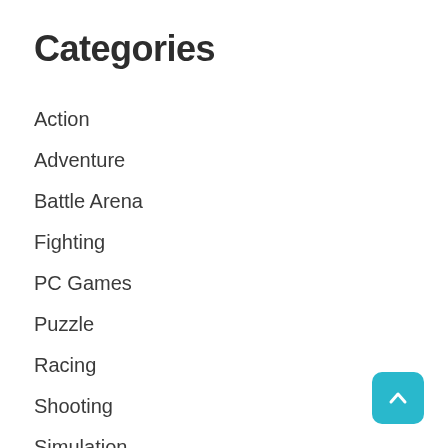Categories
Action
Adventure
Battle Arena
Fighting
PC Games
Puzzle
Racing
Shooting
Simulation
Sports